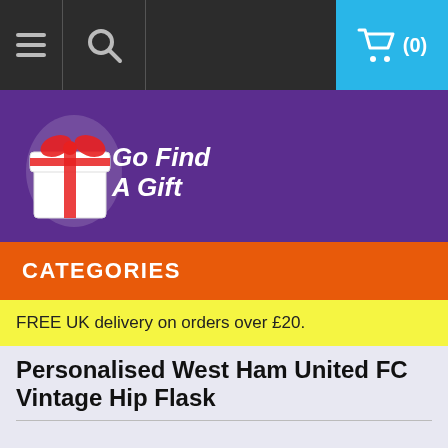Navigation bar with menu, search, and cart (0)
[Figure (logo): Go Find A Gift logo with gift box graphic on purple background]
CATEGORIES
FREE UK delivery on orders over £20.
Personalised West Ham United FC Vintage Hip Flask
[Figure (photo): Silver vintage hip flask with screw cap and embossed design]